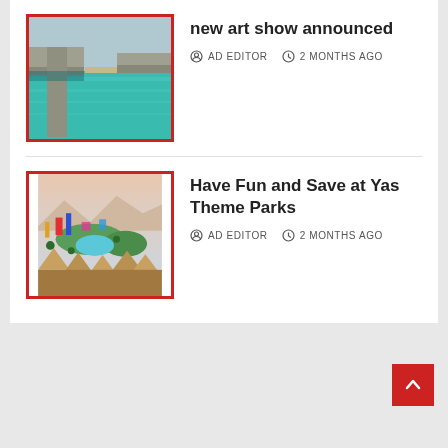[Figure (photo): Aerial or under-bridge view of turquoise water with concrete bridge/overpass structure]
new art show announced
AD EDITOR  2 MONTHS AGO
[Figure (photo): Aerial view of Yas Theme Parks with colorful rides, pools, tents/umbrellas and landscaping]
Have Fun and Save at Yas Theme Parks
AD EDITOR  2 MONTHS AGO